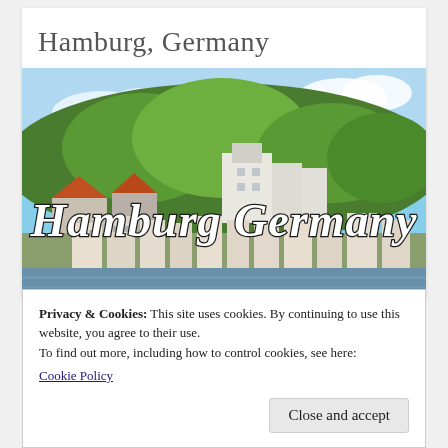Hamburg, Germany
[Figure (photo): Photograph of Hamburg, Germany showing lush green trees, historic buildings with red and orange rooftops, white multi-story buildings on a hillside, and a waterfront. Overlaid cursive text reads 'Hamburg Germany'.]
Privacy & Cookies: This site uses cookies. By continuing to use this website, you agree to their use.
To find out more, including how to control cookies, see here:
Cookie Policy
Close and accept